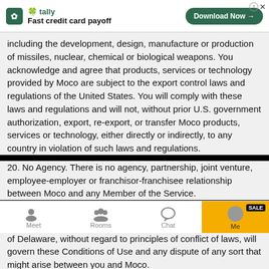[Figure (screenshot): Ad banner for Tally app - Fast credit card payoff with Download Now button]
including the development, design, manufacture or production of missiles, nuclear, chemical or biological weapons. You acknowledge and agree that products, services or technology provided by Moco are subject to the export control laws and regulations of the United States. You will comply with these laws and regulations and will not, without prior U.S. government authorization, export, re-export, or transfer Moco products, services or technology, either directly or indirectly, to any country in violation of such laws and regulations.
20. No Agency. There is no agency, partnership, joint venture, employee-employer or franchisor-franchisee relationship between Moco and any Member of the Service.
21. Governing Law. By using Moco, you agree that the Federal Arbitration Act, applicable federal law, and the laws of the state of Delaware, without regard to principles of conflict of laws, will govern these Conditions of Use and any dispute of any sort that might arise between you and Moco.
[Figure (screenshot): App bottom navigation bar with Meet, Rooms, Chat, and Me (highlighted with SALE badge) tabs]